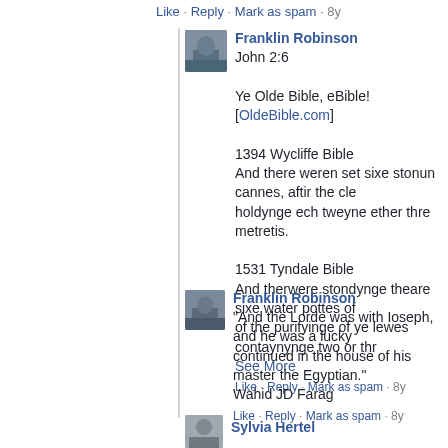Like · Reply · Mark as spam · 8y
Franklin Robinson
John 2:6

Ye Olde Bible, eBible! [OldeBible.com]

1394 Wycliffe Bible
And there weren set sixe stonun cannes, aftir the cl... holdynge ech tweyne ether thre metretis.

1531 Tyndale Bible
And therwere stondynge theare sixe water pottes of... of the purifyinge of ye lewes contaynynge two or thr...
See More
Like · Reply · Mark as spam · 8y
Franklin Robinson
"And the Lorde was with Ioseph, and he was a lucky... continued in the house of his master the Egyptian." Wahid JD Farag
Like · Reply · Mark as spam · 8y
Sylvia Hertel